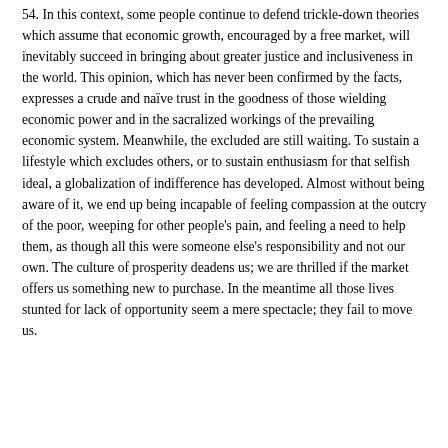54. In this context, some people continue to defend trickle-down theories which assume that economic growth, encouraged by a free market, will inevitably succeed in bringing about greater justice and inclusiveness in the world. This opinion, which has never been confirmed by the facts, expresses a crude and naïve trust in the goodness of those wielding economic power and in the sacralized workings of the prevailing economic system. Meanwhile, the excluded are still waiting. To sustain a lifestyle which excludes others, or to sustain enthusiasm for that selfish ideal, a globalization of indifference has developed. Almost without being aware of it, we end up being incapable of feeling compassion at the outcry of the poor, weeping for other people's pain, and feeling a need to help them, as though all this were someone else's responsibility and not our own. The culture of prosperity deadens us; we are thrilled if the market offers us something new to purchase. In the meantime all those lives stunted for lack of opportunity seem a mere spectacle; they fail to move us.